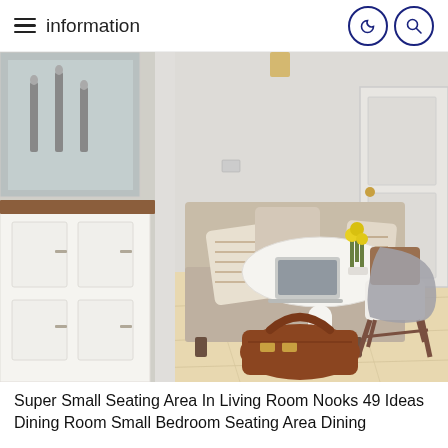information
[Figure (photo): Interior dining nook with a beige L-shaped sectional sofa with patterned throw pillows, a white round tulip-style pedestal table with an open laptop and yellow flowers, a mid-century modern wooden chair with a grey throw blanket draped over it, a brown leather bag on the light hardwood floor, and white cabinetry with a wood countertop on the left.]
Super Small Seating Area In Living Room Nooks 49 Ideas Dining Room Small Bedroom Seating Area Dining